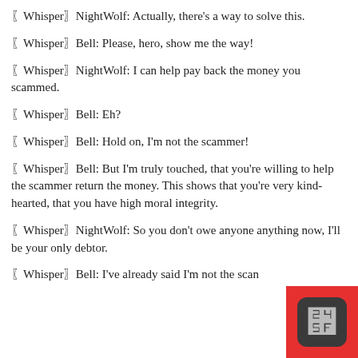〖Whisper〗NightWolf: Actually, there's a way to solve this.
〖Whisper〗Bell: Please, hero, show me the way!
〖Whisper〗NightWolf: I can help pay back the money you scammed.
〖Whisper〗Bell: Eh?
〖Whisper〗Bell: Hold on, I'm not the scammer!
〖Whisper〗Bell: But I'm truly touched, that you're willing to help the scammer return the money. This shows that you're very kind-hearted, that you have high moral integrity.
〖Whisper〗NightWolf: So you don't owe anyone anything now, I'll be your only debtor.
〖Whisper〗Bell: I've already said I'm not the scan